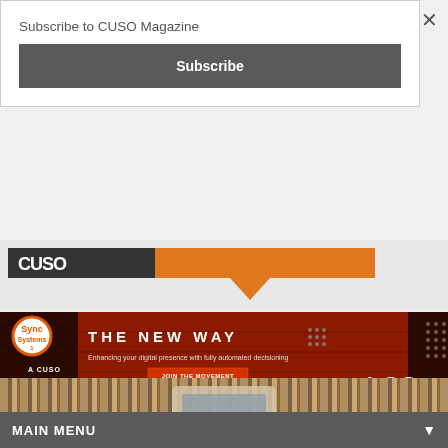Subscribe to CUSO Magazine
Subscribe
[Figure (logo): CUSO Magazine logo with orange speech bubble banner]
[Figure (infographic): Sync1 Systems / A CUSO advertisement: THE NEW WAY - Enhancing your digital presence with fully automated decisioning. JOIN THE MOVEMENT. LOS.]
MAIN MENU
[Figure (photo): Striped wallpaper background with partial thermostat or device frame visible]